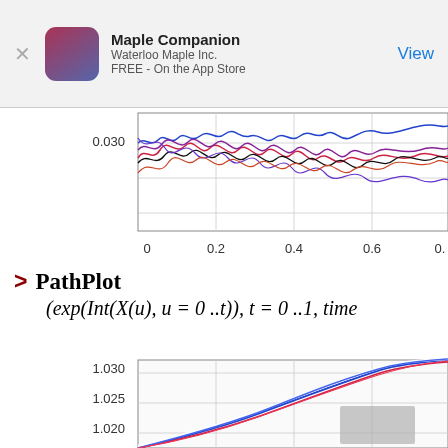Maple Companion
Waterloo Maple Inc.
FREE - On the App Store
[Figure (continuous-plot): Top portion of a stochastic path plot showing multiple colored oscillating curves (blue, red, purple, black) between y≈0.030 and y≈0.040, x-axis from 0 to 0.8+]
[Figure (continuous-plot): Bottom portion of a stochastic path plot showing multiple colored lines (blue, red, white) rising from bottom-left to upper-right, y-axis showing values 1.020, 1.025, 1.030, x-axis partially visible]